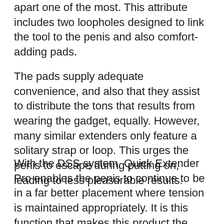apart one of the most. This attribute includes two loopholes designed to link the tool to the penis and also comfort-adding pads.
The pads supply adequate convenience, and also that they assist to distribute the tons that results from wearing the gadget, equally. However, many similar extenders only feature a solitary strap or loop. This urges the penis to escape during putting on, leading to less pleasurable results.
With the DSS system, Quick Extender Pro enables the penis to continue to be in a far better placement where tension is maintained appropriately. It is this function that makes this product the very best penile extender for many.